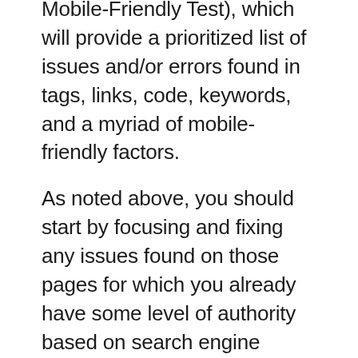Mobile-Friendly Test), which will provide a prioritized list of issues and/or errors found in tags, links, code, keywords, and a myriad of mobile-friendly factors.
As noted above, you should start by focusing and fixing any issues found on those pages for which you already have some level of authority based on search engine results.
You can then move onto other priority web pages based on website analytics data or strategic importance.